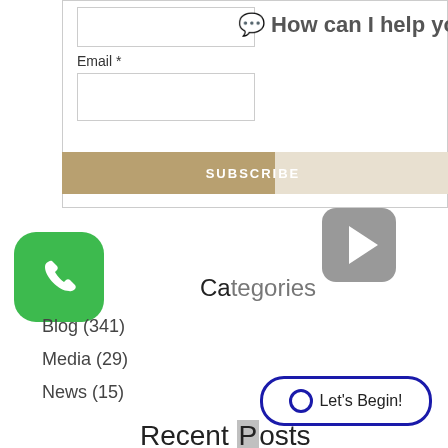[Figure (screenshot): Web form with a name input field and Email label with email input field below]
Email *
[Figure (screenshot): SUBSCRIBE button split between tan/gold color on left and beige on right]
[Figure (other): Chat emoji icon followed by text: How can I help you?]
[Figure (other): Grey rounded square play button icon]
[Figure (illustration): Green rounded square icon with white phone/call symbol]
Categories
Blog (341)
Media (29)
News (15)
[Figure (other): Oval button with blue border containing circle icon and text: Let's Begin!]
Recent Posts